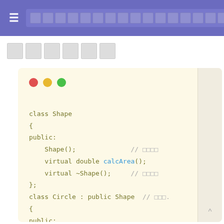≡ [navigation bar] 🔍
[Japanese title text]
[Figure (screenshot): Code editor window showing C++ class definitions for Shape and Circle with virtual methods calcArea(). Window has macOS-style traffic light buttons (red, yellow, green). Code includes: class Shape { public: Shape(); virtual double calcArea(); virtual ~Shape(); }; class Circle : public Shape { public: virtual double calcArea(); ... };  with Japanese comments and a scrollbar showing 60%.]